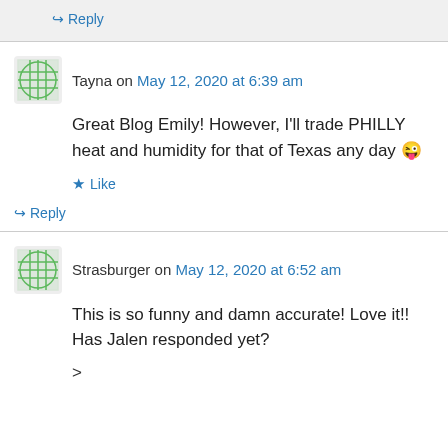↪ Reply
Tayna on May 12, 2020 at 6:39 am
Great Blog Emily! However, I'll trade PHILLY heat and humidity for that of Texas any day 😜
★ Like
↪ Reply
Strasburger on May 12, 2020 at 6:52 am
This is so funny and damn accurate! Love it!! Has Jalen responded yet?
>